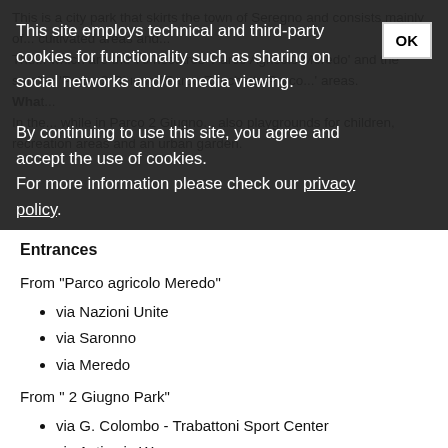This is a city park that skirts the town of Seregno and consists mainly of... cultivated areas and... The... which are the 70 hectares 'Parco Agricolo Meredo' and the smaller 'Parco 2 Giugno'/'Parco Rocchetto/Parco...' areas. What... In the... while in Parco 2 Giugno... also playgrounds for children, recreation areas and an urban garden.
This site employs technical and third-party cookies for functionality such as sharing on social networks and/or media viewing.
By continuing to use this site, you agree and accept the use of cookies.
For more information please check our privacy policy.
Entrances
From "Parco agricolo Meredo"
via Nazioni Unite
via Saronno
via Meredo
From " 2 Giugno Park"
via G. Colombo - Trabattoni Sport Center
via Asti · via Wagner
viale Tiziano
via Alessandria